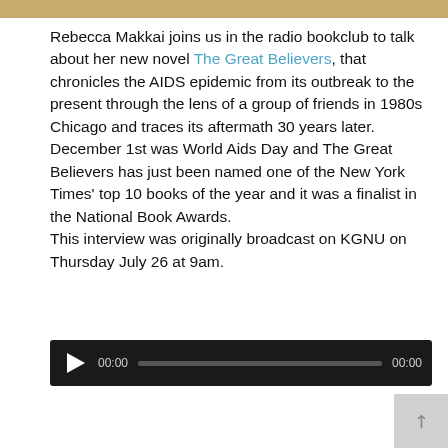Rebecca Makkai joins us in the radio bookclub to talk about her new novel The Great Believers, that chronicles the AIDS epidemic from its outbreak to the present through the lens of a group of friends in 1980s Chicago and traces its aftermath 30 years later. December 1st was World Aids Day and The Great Believers has just been named one of the New York Times' top 10 books of the year and it was a finalist in the National Book Awards.
This interview was originally broadcast on KGNU on Thursday July 26 at 9am.
[Figure (other): Audio player with play button, 00:00 start time, progress bar, and 00:00 end time on dark background]